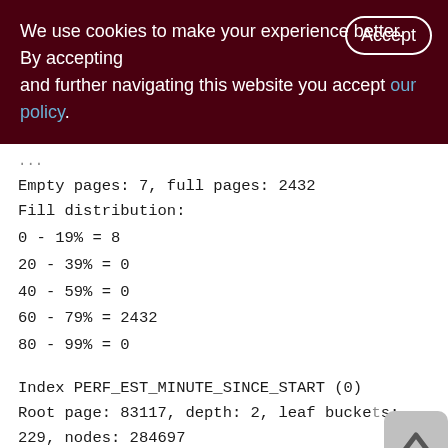We use cookies to make your experience better. By accepting and further navigating this website you accept our policy.
Empty pages: 7, full pages: 2432
Fill distribution:
0 - 19% = 8
20 - 39% = 0
40 - 59% = 0
60 - 79% = 2432
80 - 99% = 0
Index PERF_EST_MINUTE_SINCE_START (0)
Root page: 83117, depth: 2, leaf buckets: 229, nodes: 284697
Average node length: 4.55, total dup: